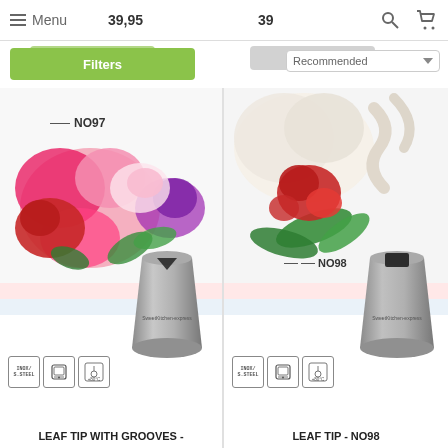Menu  39,95  39  [search] [cart]
Filters   Add to cart   Add to cart   Recommended
[Figure (photo): Product card left: Leaf Tip with Grooves NO97 — shows flower decorations on cake (roses in pink, red, purple) with label NO97, a stainless steel leaf piping tip, three material icons (iron/steel, dishwasher safe, temperature safe)]
LEAF TIP WITH GROOVES -
[Figure (photo): Product card right: Leaf Tip NO98 — shows flower decorations (red carnations, green leaves, cream swirls) with label NO98, a stainless steel leaf piping tip, three material icons (iron/steel, dishwasher safe, temperature safe)]
LEAF TIP - NO98